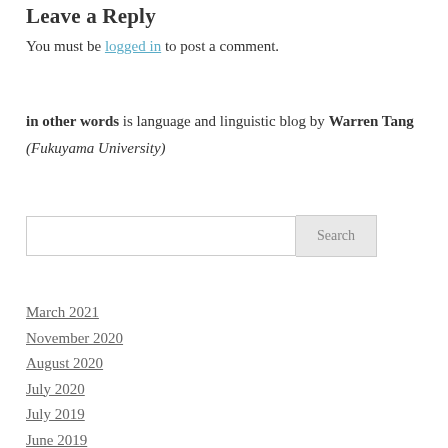Leave a Reply
You must be logged in to post a comment.
in other words is language and linguistic blog by Warren Tang (Fukuyama University)
Search
March 2021
November 2020
August 2020
July 2020
July 2019
June 2019
May 2019
February 2019